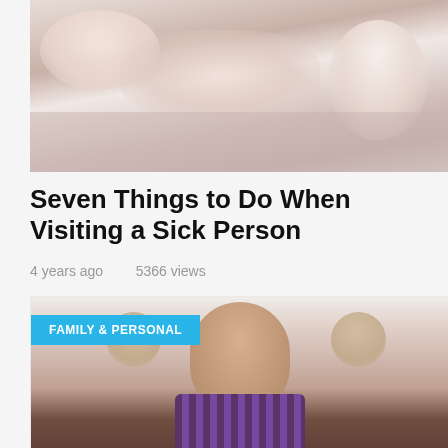[Figure (photo): Photo of people around a sick person lying down, likely a medical/family visit scene]
Seven Things to Do When Visiting a Sick Person
4 years ago    5366 views
[Figure (photo): Photo of a young boy making a funny face with hands raised to his ears, wearing a plaid shirt. Category badge reads FAMILY & PERSONAL]